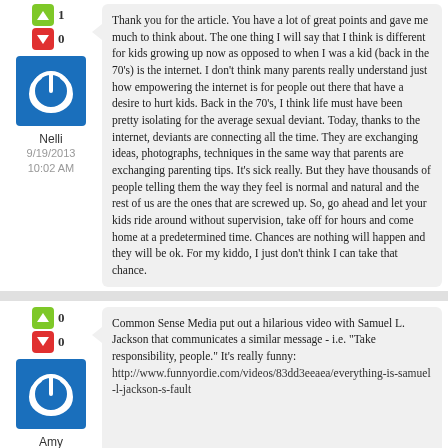Nelli
9/19/2013
10:02 AM
Thank you for the article. You have a lot of great points and gave me much to think about. The one thing I will say that I think is different for kids growing up now as opposed to when I was a kid (back in the 70's) is the internet. I don't think many parents really understand just how empowering the internet is for people out there that have a desire to hurt kids. Back in the 70's, I think life must have been pretty isolating for the average sexual deviant. Today, thanks to the internet, deviants are connecting all the time. They are exchanging ideas, photographs, techniques in the same way that parents are exchanging parenting tips. It's sick really. But they have thousands of people telling them the way they feel is normal and natural and the rest of us are the ones that are screwed up. So, go ahead and let your kids ride around without supervision, take off for hours and come home at a predetermined time. Chances are nothing will happen and they will be ok. For my kiddo, I just don't think I can take that chance.
Amy Wilson
Common Sense Media put out a hilarious video with Samuel L. Jackson that communicates a similar message - i.e. "Take responsibility, people." It's really funny:
http://www.funnyordie.com/videos/83dd3eeaea/everything-is-samuel-l-jackson-s-fault